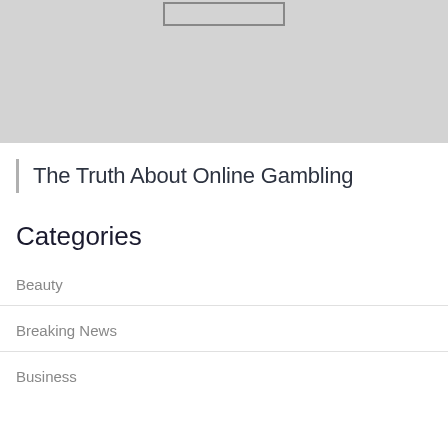[Figure (other): Gray placeholder image with a small outlined rectangle at the top center]
The Truth About Online Gambling
Categories
Beauty
Breaking News
Business